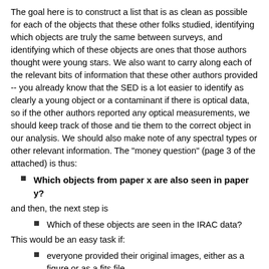The goal here is to construct a list that is as clean as possible for each of the objects that these other folks studied, identifying which objects are truly the same between surveys, and identifying which of these objects are ones that those authors thought were young stars. We also want to carry along each of the relevant bits of information that these other authors provided -- you already know that the SED is a lot easier to identify as clearly a young object or a contaminant if there is optical data, so if the other authors reported any optical measurements, we should keep track of those and tie them to the correct object in our analysis. We should also make note of any spectral types or other relevant information. The "money question" (page 3 of the attached) is thus:
Which objects from paper x are also seen in paper y?
and then, the next step is
Which of these objects are seen in the IRAC data?
This would be an easy task if:
everyone provided their original images, either as a figure or as a fits file
everyone worked in the same coordinate system, by which i mean not just "J2000" vs "B1950" but "J2000 tied to 2MASS" as opposed to "J2000 tied to the pulsars seen by NRAO" or "J2000 as calibrated as best I can based on the HST Guide Stars I happen to see in my image" (the latter of which is what we are likely to have with the Haleakela